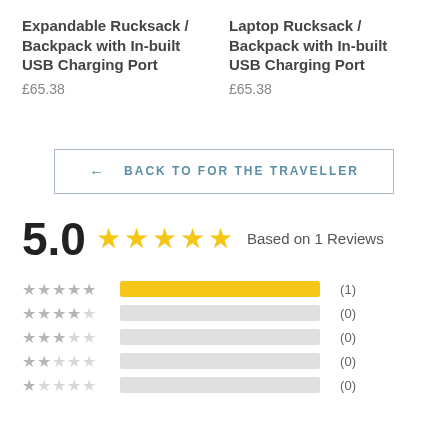Expandable Rucksack / Backpack with In-built USB Charging Port
£65.38
Laptop Rucksack / Backpack with In-built USB Charging Port
£65.38
← BACK TO FOR THE TRAVELLER
5.0 ★★★★★ Based on 1 Reviews
★★★★★ (1)
★★★★☆ (0)
★★★☆☆ (0)
★★☆☆☆ (0)
★☆☆☆☆ (0)